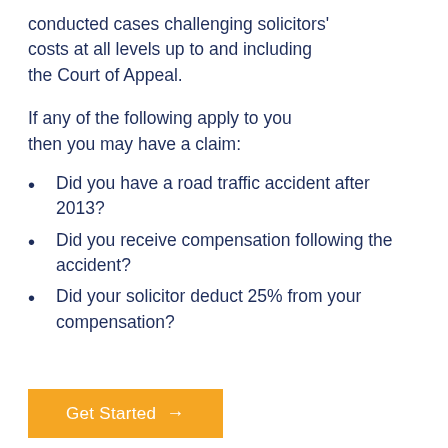conducted cases challenging solicitors' costs at all levels up to and including the Court of Appeal.
If any of the following apply to you then you may have a claim:
Did you have a road traffic accident after 2013?
Did you receive compensation following the accident?
Did your solicitor deduct 25% from your compensation?
Get Started →